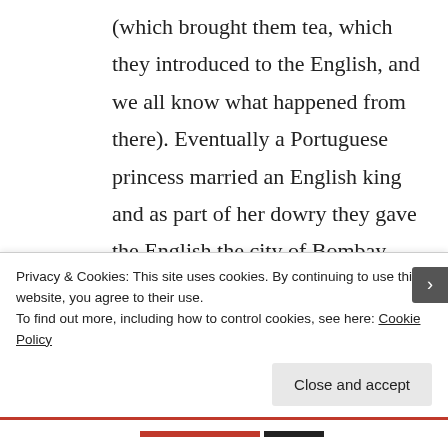(which brought them tea, which they introduced to the English, and we all know what happened from there). Eventually a Portuguese princess married an English king and as part of her dowry they gave the English the city of Bombay, which ultimately helped England gain a foothold for conquering India and beyond.
Privacy & Cookies: This site uses cookies. By continuing to use this website, you agree to their use.
To find out more, including how to control cookies, see here: Cookie Policy
Close and accept